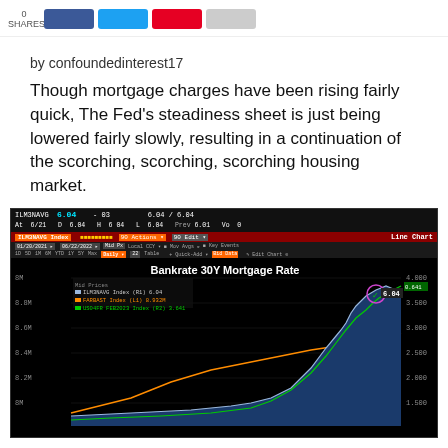SHARES [social share buttons: Facebook, Twitter, Pinterest, Share]
by confoundedinterest17
Though mortgage charges have been rising fairly quick, The Fed's steadiness sheet is just being lowered fairly slowly, resulting in a continuation of the scorching, scorching, scorching housing market.
[Figure (continuous-plot): Bloomberg terminal screenshot showing Bankrate 30Y Mortgage Rate line chart. ILM3NAVG index at 6.04, orange line showing Fed balance sheet (FARBAST Index at 8.932M), green line (US04FR FEB2023 Index at 3.641). Chart shows rising mortgage rates with a circled data point at 6.04 on the right side.]